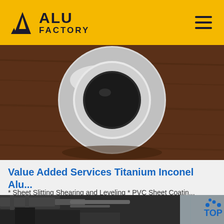[Figure (logo): ALU FACTORY logo with yellow background and hamburger menu icon]
[Figure (photo): Top-down photo of a circular metal disc/flange with a dark hole in the center, placed on a dark brown wooden surface]
Value Added Services Titanium Inconel Alu...
* Sheet Slitting Shearing and Leveling * PVC Sheet Coatin...
Get Price
[Figure (photo): Industrial facility interior showing metal ductwork, pipes and equipment in a large warehouse with natural light from windows]